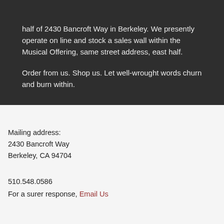half of 2430 Bancroft Way in Berkeley. We presently operate on line and stock a sales wall within the Musical Offering, same street address, east half.
Order from us. Shop us. Let well-wrought words churn and burn within.
Mailing address:
2430 Bancroft Way
Berkeley, CA 94704
510.548.0586
For a surer response, Email Us